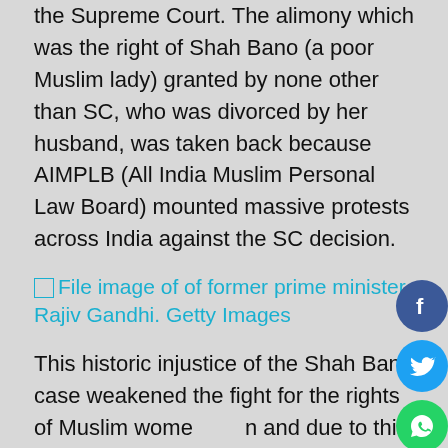the Supreme Court. The alimony which was the right of Shah Bano (a poor Muslim lady) granted by none other than SC, who was divorced by her husband, was taken back because AIMPLB (All India Muslim Personal Law Board) mounted massive protests across India against the SC decision.
[Figure (other): Broken image placeholder link: File image of of former prime minister Rajiv Gandhi. Getty Images]
This historic injustice of the Shah Bano case weakened the fight for the rights of Muslim women and due to this, it took more than 70 years since Independence to abolish the evil practice of triple talaq. Even after the abolition of triple talaq, Muslim women have still not got legal rights in the manner which women of other communities have. Societal